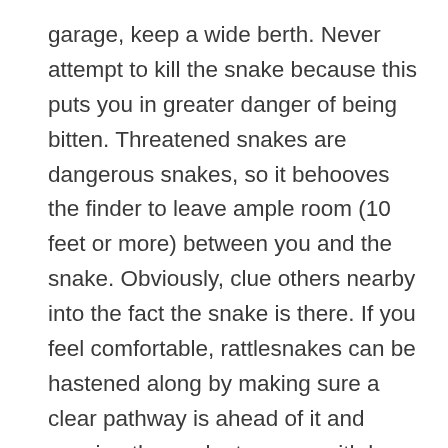garage, keep a wide berth. Never attempt to kill the snake because this puts you in greater danger of being bitten. Threatened snakes are dangerous snakes, so it behooves the finder to leave ample room (10 feet or more) between you and the snake. Obviously, clue others nearby into the fact the snake is there. If you feel comfortable, rattlesnakes can be hastened along by making sure a clear pathway is ahead of it and coaxing the snake to move with long-handled implements (push brooms, pool nets, etc.). Use the length of the implement to maintain distance between you and the snake. If possible, keep something between you and the snake and make sure you have an escape route as well. Keep other people, if present, far back and do not allow yourself to be distracted. If you do not feel